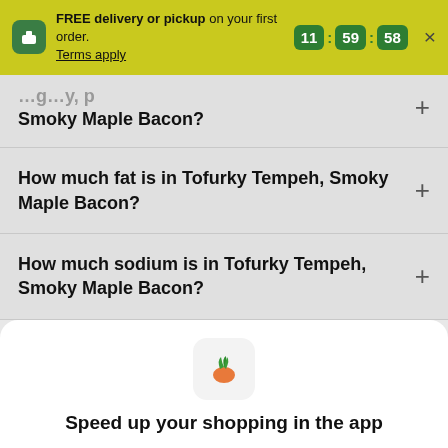FREE delivery or pickup on your first order. Terms apply. 11 59 58
Smoky Maple Bacon?
How much fat is in Tofurky Tempeh, Smoky Maple Bacon?
How much sodium is in Tofurky Tempeh, Smoky Maple Bacon?
[Figure (logo): Instacart carrot logo icon]
Speed up your shopping in the app
Continue in app
Continue in browser